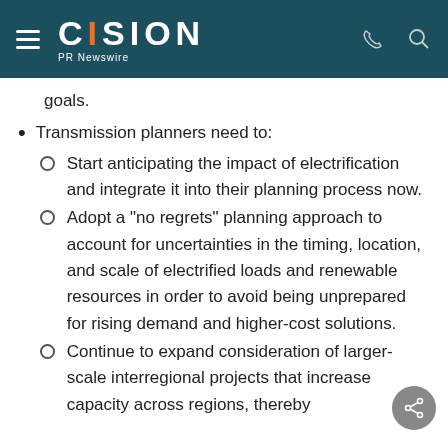CISION PR Newswire
goals.
Transmission planners need to:
Start anticipating the impact of electrification and integrate it into their planning process now.
Adopt a "no regrets" planning approach to account for uncertainties in the timing, location, and scale of electrified loads and renewable resources in order to avoid being unprepared for rising demand and higher-cost solutions.
Continue to expand consideration of larger-scale interregional projects that increase capacity across regions, thereby